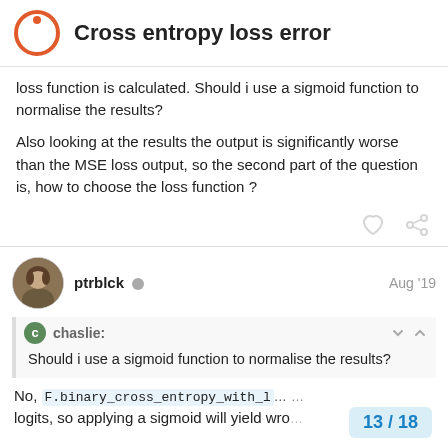Cross entropy loss error
loss function is calculated. Should i use a sigmoid function to normalise the results?

Also looking at the results the output is significantly worse than the MSE loss output, so the second part of the question is, how to choose the loss function ?
ptrblck  Aug '19
chaslie: Should i use a sigmoid function to normalise the results?
No, F.binary_cross_entropy_with_l... logits, so applying a sigmoid will yield wro...
13 / 18